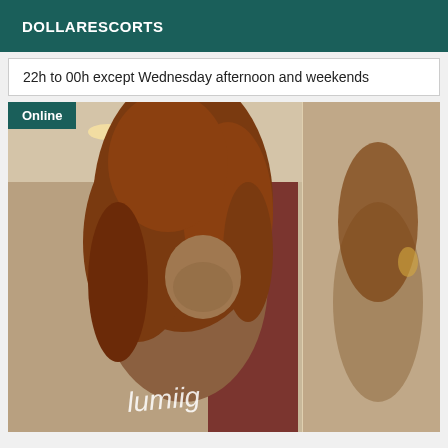DOLLARESCORTS
22h to 00h except Wednesday afternoon and weekends
[Figure (photo): A woman with long curly auburn hair posing in a room with a mirror reflection visible on the right side. An 'Online' badge is shown in the top-left corner of the image.]